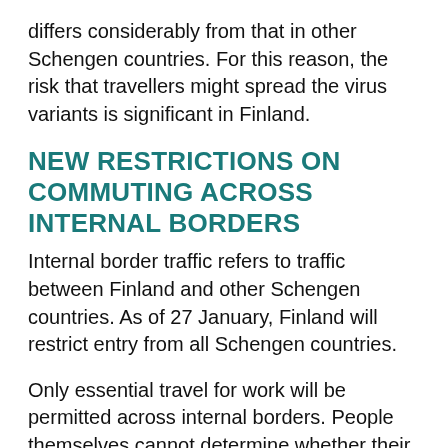differs considerably from that in other Schengen countries. For this reason, the risk that travellers might spread the virus variants is significant in Finland.
NEW RESTRICTIONS ON COMMUTING ACROSS INTERNAL BORDERS
Internal border traffic refers to traffic between Finland and other Schengen countries. As of 27 January, Finland will restrict entry from all Schengen countries.
Only essential travel for work will be permitted across internal borders. People themselves cannot determine whether their commuting is deemed essential.  Essential travel constitutes work that is important for the functioning of